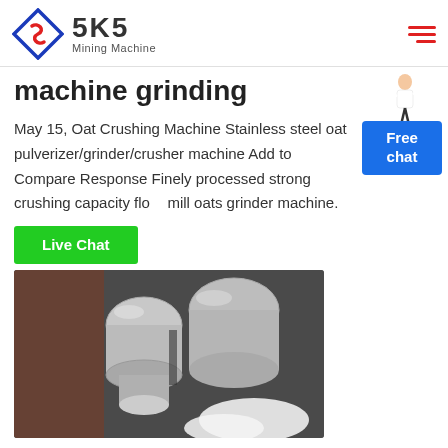SKS Mining Machine
machine grinding
May 15, Oat Crushing Machine Stainless steel oat pulverizer/grinder/crusher machine Add to Compare Response Finely processed strong crushing capacity flour mill oats grinder machine.
Live Chat
[Figure (photo): Close-up photo of stainless steel grinding machine components showing metallic cylindrical mill parts and white ground powder]